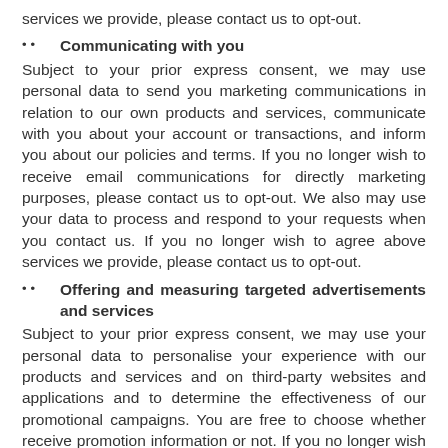services we provide, please contact us to opt-out.
• Communicating with you
Subject to your prior express consent, we may use personal data to send you marketing communications in relation to our own products and services, communicate with you about your account or transactions, and inform you about our policies and terms. If you no longer wish to receive email communications for directly marketing purposes, please contact us to opt-out. We also may use your data to process and respond to your requests when you contact us. If you no longer wish to agree above services we provide, please contact us to opt-out.
• Offering and measuring targeted advertisements and services
Subject to your prior express consent, we may use your personal data to personalise your experience with our products and services and on third-party websites and applications and to determine the effectiveness of our promotional campaigns. You are free to choose whether receive promotion information or not. If you no longer wish to agree above services we provide, please send e-mail to us